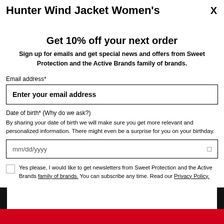Hunter Wind Jacket Women's
X
Get 10% off your next order
Sign up for emails and get special news and offers from Sweet Protection and the Active Brands family of brands.
Email address*
Enter your email address
Date of birth* (Why do we ask?)
By sharing your date of birth we will make sure you get more relevant and personalized information. There might even be a surprise for you on your birthday.
mm/dd/yyyy
Yes please, I would like to get newsletters from Sweet Protection and the Active Brands family of brands. You can subscribe any time. Read our Privacy Policy.